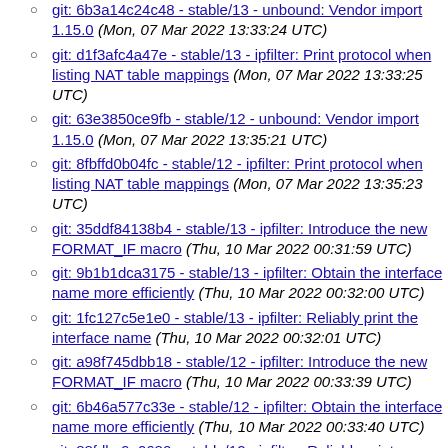git: 6b3a14c24c48 - stable/13 - unbound: Vendor import 1.15.0 (Mon, 07 Mar 2022 13:33:24 UTC)
git: d1f3afc4a47e - stable/13 - ipfilter: Print protocol when listing NAT table mappings (Mon, 07 Mar 2022 13:33:25 UTC)
git: 63e3850ce9fb - stable/12 - unbound: Vendor import 1.15.0 (Mon, 07 Mar 2022 13:35:21 UTC)
git: 8fbffd0b04fc - stable/12 - ipfilter: Print protocol when listing NAT table mappings (Mon, 07 Mar 2022 13:35:23 UTC)
git: 35ddf84138b4 - stable/13 - ipfilter: Introduce the new FORMAT_IF macro (Thu, 10 Mar 2022 00:31:59 UTC)
git: 9b1b1dca3175 - stable/13 - ipfilter: Obtain the interface name more efficiently (Thu, 10 Mar 2022 00:32:00 UTC)
git: 1fc127c5e1e0 - stable/13 - ipfilter: Reliably print the interface name (Thu, 10 Mar 2022 00:32:01 UTC)
git: a98f745dbb18 - stable/12 - ipfilter: Introduce the new FORMAT_IF macro (Thu, 10 Mar 2022 00:33:39 UTC)
git: 6b46a577c33e - stable/12 - ipfilter: Obtain the interface name more efficiently (Thu, 10 Mar 2022 00:33:40 UTC)
git: 88fdbc9a0680 - stable/12 - ipfilter: Reliably print